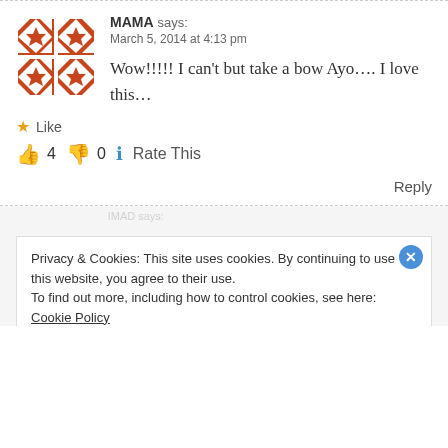MAMA says: March 5, 2014 at 4:13 pm
Wow!!!!! I can't but take a bow Ayo.... I love this...
Like
👍 4  👎 0  ℹ Rate This
Reply
Privacy & Cookies: This site uses cookies. By continuing to use this website, you agree to their use. To find out more, including how to control cookies, see here: Cookie Policy
Close and accept